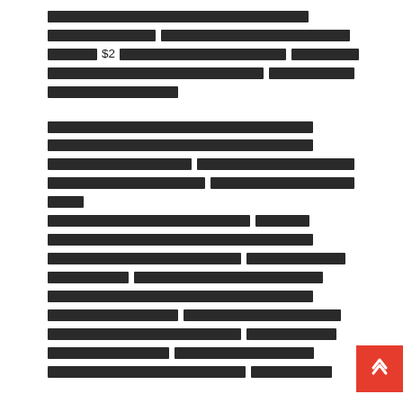[redacted text block 1 - multiple lines of redacted/blocked content containing $2 reference]
[redacted text block 2 - multiple lines of redacted/blocked content]